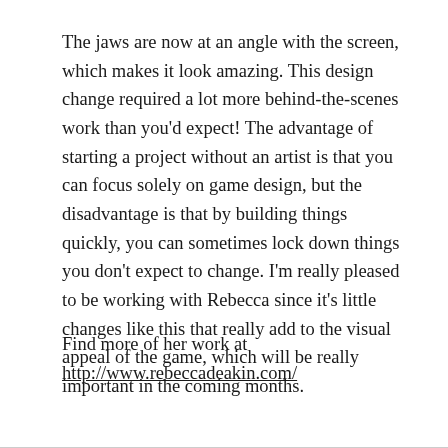The jaws are now at an angle with the screen, which makes it look amazing. This design change required a lot more behind-the-scenes work than you'd expect! The advantage of starting a project without an artist is that you can focus solely on game design, but the disadvantage is that by building things quickly, you can sometimes lock down things you don't expect to change. I'm really pleased to be working with Rebecca since it's little changes like this that really add to the visual appeal of the game, which will be really important in the coming months.
Find more of her work at http://www.rebeccadeakin.com/